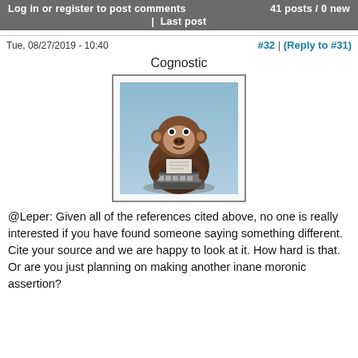Log in or register to post comments | 41 posts / 0 new | Last post
Tue, 08/27/2019 - 10:40
#32 | (Reply to #31)
Cognostic
[Figure (photo): Avatar image of a chimpanzee sitting at a typewriter, wearing what appears to be a suit, with a blue/grey background.]
@Leper: Given all of the references cited above, no one is really interested if you have found someone saying something different. Cite your source and we are happy to look at it. How hard is that. Or are you just planning on making another inane moronic assertion?